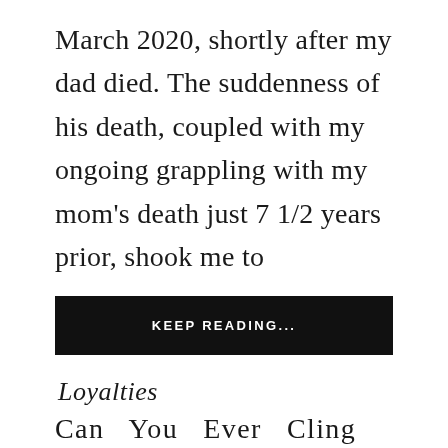March 2020, shortly after my dad died. The suddenness of his death, coupled with my ongoing grappling with my mom's death just 7 1/2 years prior, shook me to
KEEP READING...
Loyalties
Can You Ever Cling To...